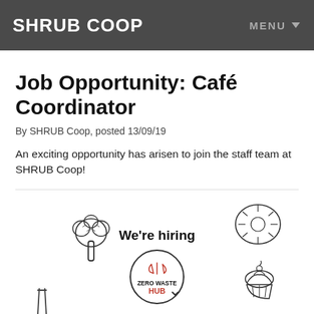SHRUB COOP   MENU ▼
Job Opportunity: Café Coordinator
By SHRUB Coop, posted 13/09/19
An exciting opportunity has arisen to join the staff team at SHRUB Coop!
[Figure (illustration): We're hiring illustration with broccoli, bread roll, cupcake, and Zero Waste Hub circular logo with kitchen utensils]